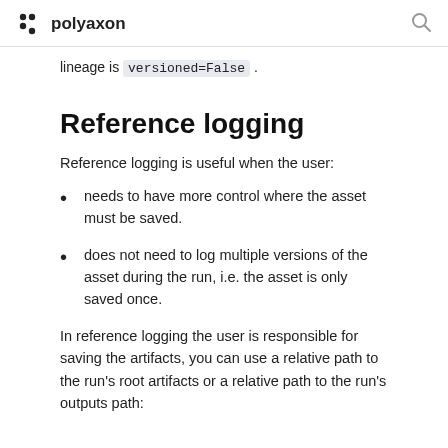polyaxon
lineage is versioned=False .
Reference logging
Reference logging is useful when the user:
needs to have more control where the asset must be saved.
does not need to log multiple versions of the asset during the run, i.e. the asset is only saved once.
In reference logging the user is responsible for saving the artifacts, you can use a relative path to the run's root artifacts or a relative path to the run's outputs path: